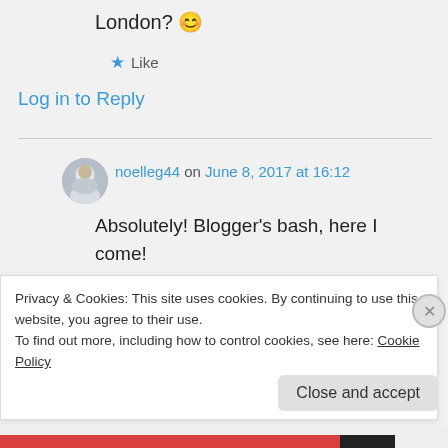London? 😊
★ Like
Log in to Reply
noelleg44 on June 8, 2017 at 16:12
Absolutely! Blogger's bash, here I come!
★ Liked by 1 person
Privacy & Cookies: This site uses cookies. By continuing to use this website, you agree to their use.
To find out more, including how to control cookies, see here: Cookie Policy